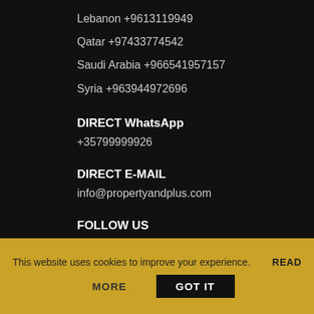Lebanon +9613119949
Qatar +97433774542
Saudi Arabia +966541957157
Syria +963944972696
DIRECT WhatsApp
+35799999926
DIRECT E-MAIL
info@propertyandplus.com
FOLLOW US
Facebook
Instagram
This website uses cookies to improve your experience.
READ
MORE
GOT IT